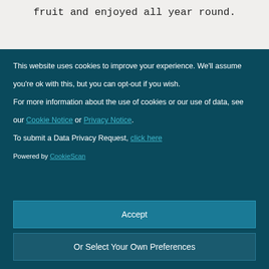fruit and enjoyed all year round.
This website uses cookies to improve your experience. We'll assume you're ok with this, but you can opt-out if you wish.

For more information about the use of cookies or our use of data, see our Cookie Notice or Privacy Notice.

To submit a Data Privacy Request, click here
Powered by CookieScan
Accept
Or Select Your Own Preferences